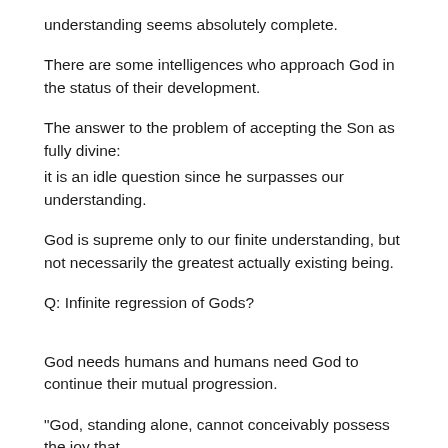understanding seems absolutely complete.
There are some intelligences who approach God in the status of their development.
The answer to the problem of accepting the Son as fully divine:
it is an idle question since he surpasses our understanding.
God is supreme only to our finite understanding, but not necessarily the greatest actually existing being.
Q: Infinite regression of Gods?
God needs humans and humans need God to continue their mutual progression.
"God, standing alone, cannot conceivably possess the joy that